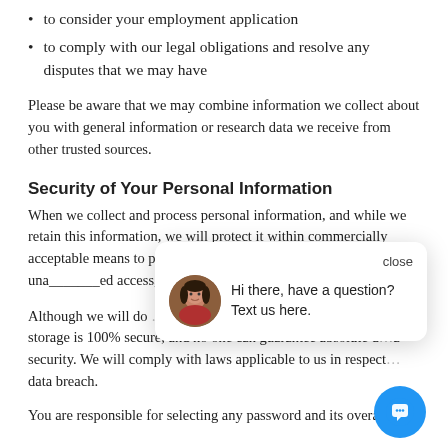to consider your employment application
to comply with our legal obligations and resolve any disputes that we may have
Please be aware that we may combine information we collect about you with general information or research data we receive from other trusted sources.
Security of Your Personal Information
When we collect and process personal information, and while we retain this information, we will protect it within commercially acceptable means to prevent loss and theft, as well as unauthorized access, disclosure, c[obscured by overlay]
Although we will do [obscured] provide to us, we adv[obscured] storage is 100% secure, and no one can guarantee absolute data security. We will comply with laws applicable to us in respect[obscured] data breach.
You are responsible for selecting any password and its overall
[Figure (screenshot): Chat popup overlay with close button and avatar of a woman, text: Hi there, have a question? Text us here. Also a blue circular chat button at bottom right.]